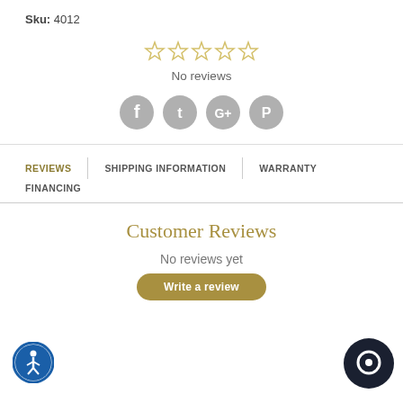Sku: 4012
[Figure (other): Five empty gold star rating icons indicating no rating]
No reviews
[Figure (other): Social media share icons: Facebook, Twitter, Google+, Pinterest]
REVIEWS | SHIPPING INFORMATION | WARRANTY
FINANCING
Customer Reviews
No reviews yet
Write a review
[Figure (other): Accessibility icon (person in circle with blue border)]
[Figure (other): Dark chat/message bubble icon (circular)]